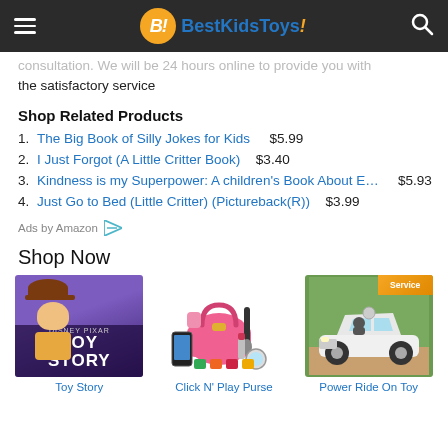BestKidsToys!
consultation. We will be 24 hours online to provide you with the satisfactory service
Shop Related Products
1. The Big Book of Silly Jokes for Kids   $5.99
2. I Just Forgot (A Little Critter Book)   $3.40
3. Kindness is my Superpower: A children's Book About E…   $5.93
4. Just Go to Bed (Little Critter) (Pictureback(R))   $3.99
Ads by Amazon
Shop Now
[Figure (photo): Toy Story movie poster thumbnail]
[Figure (photo): Click N' Play Purse toy set with pink purse, brush, mirror, lipstick, phone]
[Figure (photo): Power Ride On Toy white Mercedes car with Service badge]
Toy Story
Click N' Play Purse
Power Ride On Toy